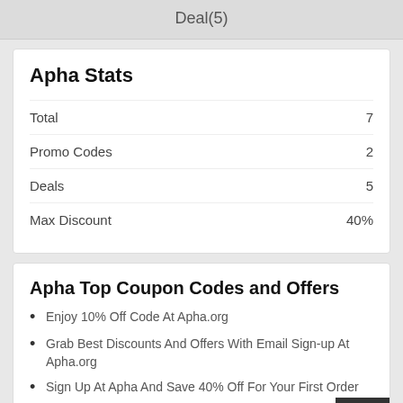Deal(5)
Apha Stats
|  |  |
| --- | --- |
| Total | 7 |
| Promo Codes | 2 |
| Deals | 5 |
| Max Discount | 40% |
Apha Top Coupon Codes and Offers
Enjoy 10% Off Code At Apha.org
Grab Best Discounts And Offers With Email Sign-up At Apha.org
Sign Up At Apha And Save 40% Off For Your First Order
35% Off With Apha Voucher Code + Free Shipping With Minimum